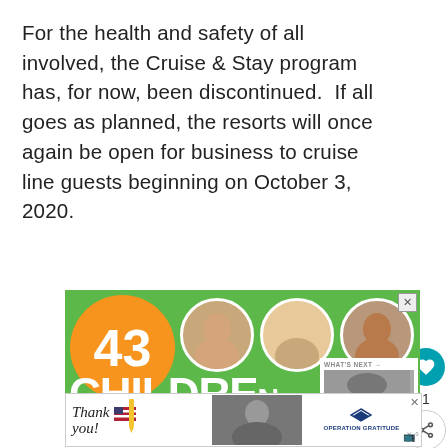For the health and safety of all involved, the Cruise & Stay program has, for now, been discontinued.  If all goes as planned, the resorts will once again be open for business to cruise line guests beginning on October 3, 2020.
[Figure (screenshot): Advertisement showing '43 CHILDREN A Day Are Diagnosed With Cancer in the U.S.' with orange circle, green background, and three children's photos]
[Figure (screenshot): Bottom advertisement bar with 'Thank you!' text, military imagery, and 'Operation Gratitude' logo]